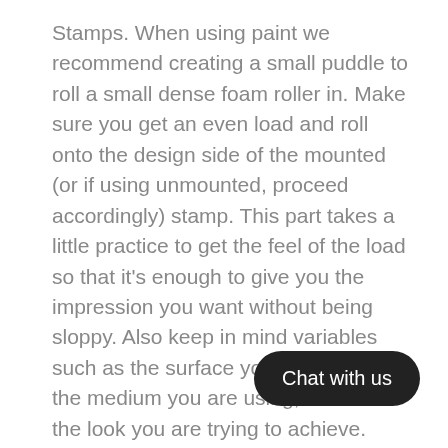Stamps. When using paint we recommend creating a small puddle to roll a small dense foam roller in. Make sure you get an even load and roll onto the design side of the mounted (or if using unmounted, proceed accordingly) stamp. This part takes a little practice to get the feel of the load so that it's enough to give you the impression you want without being sloppy. Also keep in mind variables such as the surface you are stamping, the medium you are using, as well as the look you are trying to achieve. Practice makes perfect!
Ink: Our Décor ink, and most other inks, work fabulously with the Décor Stamps. It gives finer detail and tends to be more translucent than paint, keep this in consideration to your project. We find that we